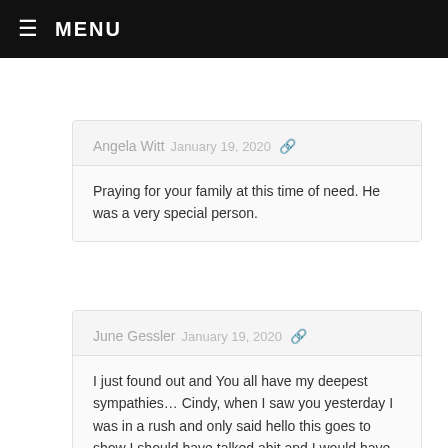≡ MENU
Angela Witt  January 19, 2020
Praying for your family at this time of need. He was a very special person.
June Gessler  January 19, 2020
I just found out and You all have my deepest sympathies… Cindy, when I saw you yesterday I was in a rush and only said hello this goes to show I should have talked abit and I would have known
Reg, I feel for you, may you find peace in your